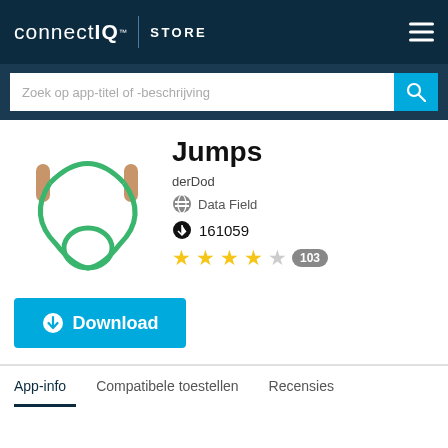connect IQ STORE
Zoek op app-titel of -beschrijving
[Figure (illustration): Jump rope icon — green cord with tan/brown handles forming a loop shape]
Jumps
derDod
Data Field
161059
★★★★☆ 103
Download
App-info	Compatibele toestellen	Recensies